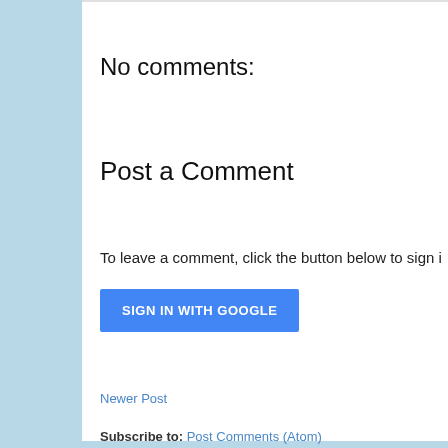No comments:
Post a Comment
To leave a comment, click the button below to sign i
[Figure (other): Blue 'SIGN IN WITH GOOGLE' button]
Newer Post
Subscribe to: Post Comments (Atom)